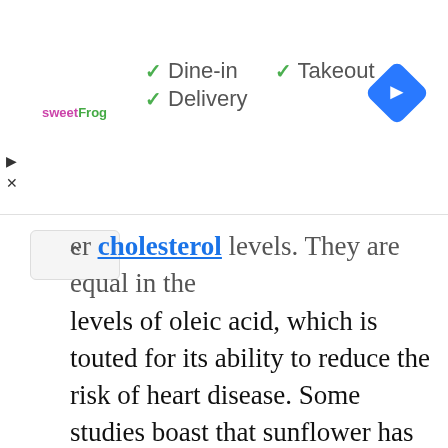[Figure (screenshot): Ad banner showing sweetFrog logo with checkmarks for Dine-in, Takeout, Delivery options and a navigation icon]
er cholesterol levels. They are equal in the levels of oleic acid, which is touted for its ability to reduce the risk of heart disease. Some studies boast that sunflower has more choline while soy has more of the other phosopholipid components.